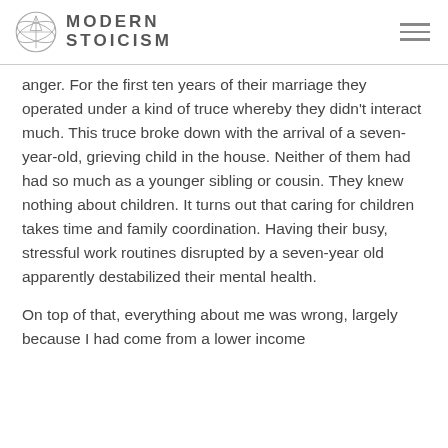MODERN STOICISM
anger. For the first ten years of their marriage they operated under a kind of truce whereby they didn't interact much. This truce broke down with the arrival of a seven-year-old, grieving child in the house. Neither of them had had so much as a younger sibling or cousin. They knew nothing about children. It turns out that caring for children takes time and family coordination. Having their busy, stressful work routines disrupted by a seven-year old apparently destabilized their mental health.
On top of that, everything about me was wrong, largely because I had come from a lower income